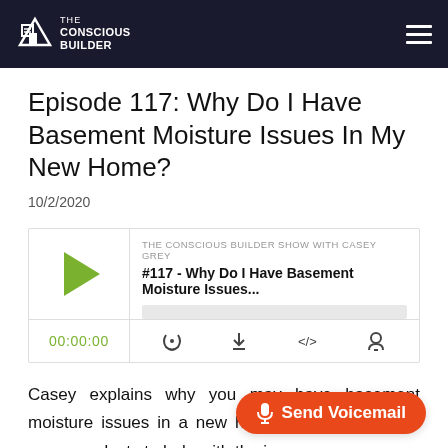THE CONSCIOUS BUILDER
Episode 117: Why Do I Have Basement Moisture Issues In My New Home?
10/2/2020
[Figure (screenshot): Podcast player widget for The Conscious Builder Show with Casey Grey, Episode #117 - Why Do I Have Basement Moisture Issues... showing play button, progress bar, time 00:00:00, and control icons]
Casey explains why you may have basement moisture issues in a new home and recommends some products to help with the issue.